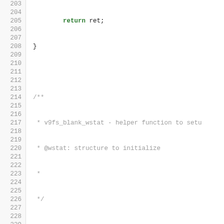Source code listing, lines 203-229, showing C code for v9fs_blank_wstat function